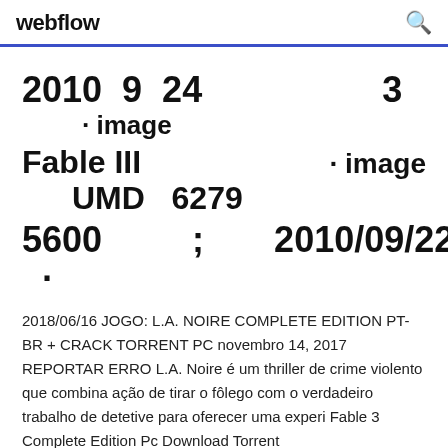webflow
2010  9  24                    3
· image
Fable III                                          · image
UMD   6279
5600         ;       2010/09/22;
·
2018/06/16 JOGO: L.A. NOIRE COMPLETE EDITION PT-BR + CRACK TORRENT PC novembro 14, 2017 REPORTAR ERRO L.A. Noire é um thriller de crime violento que combina ação de tirar o fôlego com o verdadeiro trabalho de detetive para oferecer uma experi Fable 3 Complete Edition Pc Download Torrent